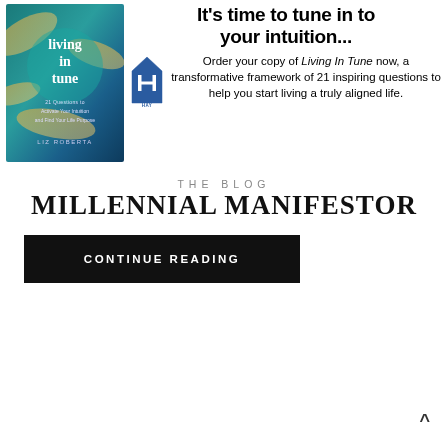[Figure (illustration): Book cover of 'Living in Tune' by Liz Roberta with teal and gold marbled background]
It's time to tune in to your intuition...
[Figure (logo): Hay House publisher logo — house icon with letter H and 'HAY HOUSE' text]
Order your copy of Living In Tune now, a transformative framework of 21 inspiring questions to help you start living a truly aligned life.
THE BLOG
MILLENNIAL MANIFESTOR
CONTINUE READING